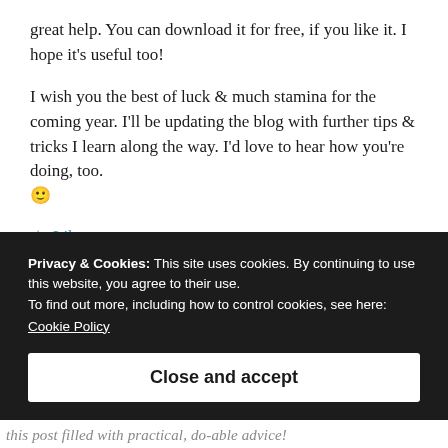great help. You can download it for free, if you like it. I hope it's useful too!
I wish you the best of luck & much stamina for the coming year. I'll be updating the blog with further tips & tricks I learn along the way. I'd love to hear how you're doing, too. 🙂
★ Like
Privacy & Cookies: This site uses cookies. By continuing to use this website, you agree to their use.
To find out more, including how to control cookies, see here:
Cookie Policy
Close and accept
this post filled with practical, do-able advice!